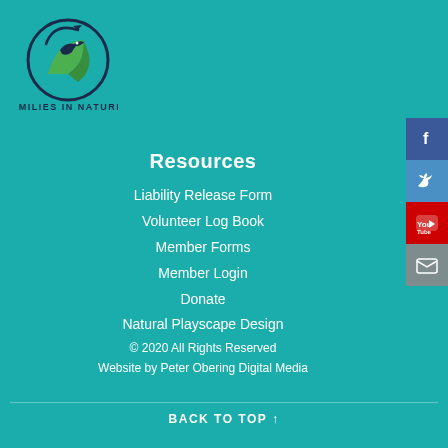[Figure (logo): Families in Nature circular logo with bird and leaf motif]
Resources
Liability Release Form
Volunteer Log Book
Member Forms
Member Login
Donate
Natural Playscape Design
© 2020 All Rights Reserved
Website by Peter Obering Digital Media
BACK TO TOP ↑